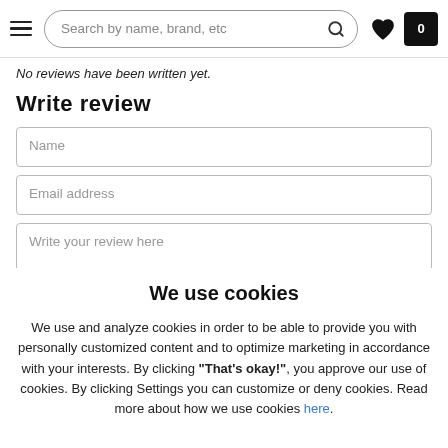Search by name, brand, etc
No reviews have been written yet.
Write review
Name
Email address
Write your review here
We use cookies
We use and analyze cookies in order to be able to provide you with personally customized content and to optimize marketing in accordance with your interests. By clicking "That's okay!", you approve our use of cookies. By clicking Settings you can customize or deny cookies. Read more about how we use cookies here.